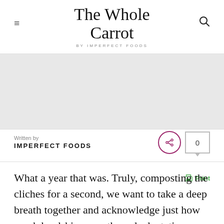The Whole Carrot by Imperfect Foods
[Figure (photo): Hero image placeholder, light gray background]
Written by
IMPERFECT FOODS
What a year that was. Truly, composting the cliches for a second, we want to take a deep breath together and acknowledge just how much hardship, growth, and adaptation we all had to go through this past year. Now that hindsight truly is 2020, we